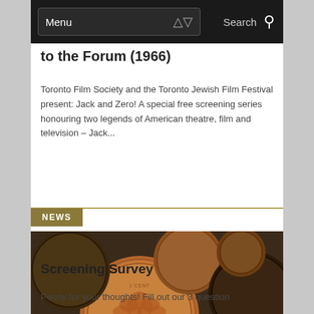Menu   Search
to the Forum (1966)
Toronto Film Society and the Toronto Jewish Film Festival present: Jack and Zero! A special free screening series honouring two legends of American theatre, film and television – Jack...
NEWS
[Figure (photo): Close-up photograph of multiple Canadian pennies (copper coins), including one clearly showing a maple leaf and the text CANADA, and another showing D·G·REGINA.]
Screening Survey
Penny for your thoughts!  Fill out our 3 question